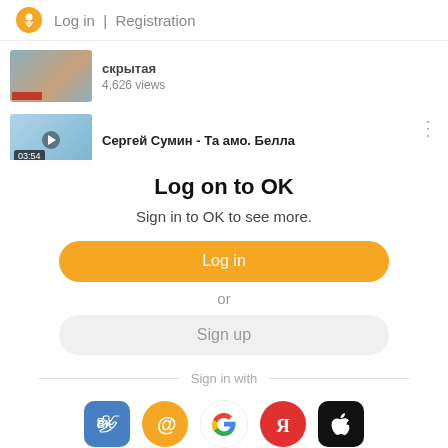Log in | Registration
[Figure (screenshot): Video thumbnail showing partial clip title and 4,626 views]
[Figure (screenshot): Video thumbnail with duration 03:54 and title Сергей Сумин - Та амо. Белла]
Log on to OK
Sign in to OK to see more.
Log in
or
Sign up
Sign in with
[Figure (logo): Social login icons: VK, Mail.ru, Google, Yandex, Apple]